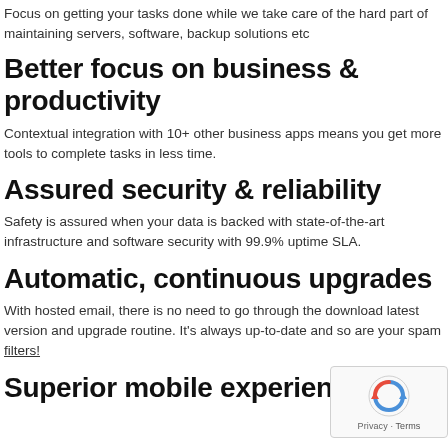Focus on getting your tasks done while we take care of the hard part of maintaining servers, software, backup solutions etc
Better focus on business & productivity
Contextual integration with 10+ other business apps means you get more tools to complete tasks in less time.
Assured security & reliability
Safety is assured when your data is backed with state-of-the-art infrastructure and software security with 99.9% uptime SLA.
Automatic, continuous upgrades
With hosted email, there is no need to go through the download latest version and upgrade routine. It's always up-to-date and so are your spam filters!
Superior mobile experience